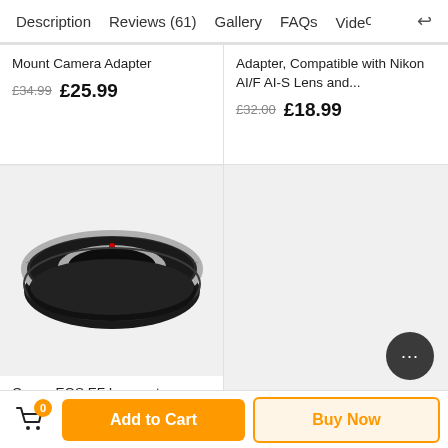Description | Reviews (61) | Gallery | FAQs | Video | ↩
Mount Camera Adapter
£34.99  £25.99
Adapter, Compatible with Nikon AI/F AI-S Lens and...
£32.00  £18.99
[Figure (photo): Canon EOS EF to Fuji GFX lens mount adapter ring, black with silver ring, photographed on white background]
Canon EOS EF Lenses to Fuji GFX Mount Camera